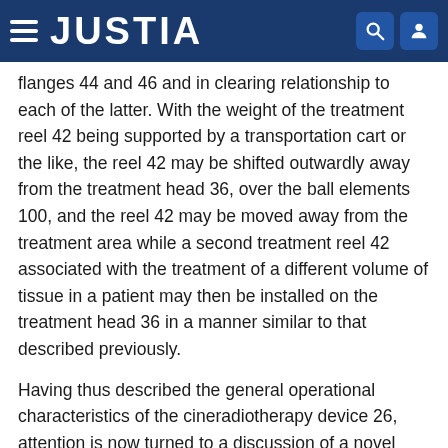JUSTIA
flanges 44 and 46 and in clearing relationship to each of the latter. With the weight of the treatment reel 42 being supported by a transportation cart or the like, the reel 42 may be shifted outwardly away from the treatment head 36, over the ball elements 100, and the reel 42 may be moved away from the treatment area while a second treatment reel 42 associated with the treatment of a different volume of tissue in a patient may then be installed on the treatment head 36 in a manner similar to that described previously.
Having thus described the general operational characteristics of the cineradiotherapy device 26, attention is now turned to a discussion of a novel method of radiotherapy treatment employing the cineradiotherapy system 20. It is first necessary to determine the precise geometrical configuration of the